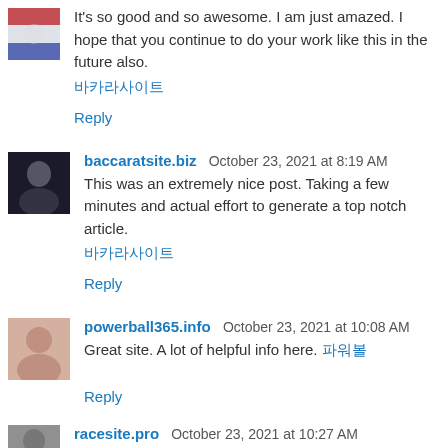It's so good and so awesome. I am just amazed. I hope that you continue to do your work like this in the future also.
바카라사이트
Reply
baccaratsite.biz  October 23, 2021 at 8:19 AM
This was an extremely nice post. Taking a few minutes and actual effort to generate a top notch article.
바카라사이트
Reply
powerball365.info  October 23, 2021 at 10:08 AM
Great site. A lot of helpful info here. 파워볼
Reply
racesite.pro  October 23, 2021 at 10:27 AM